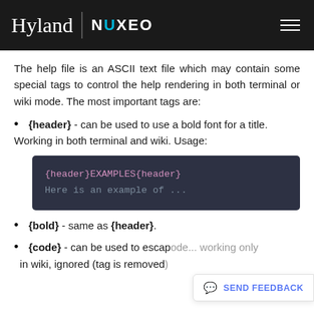Hyland | NUXEO
The help file is an ASCII text file which may contain some special tags to control the help rendering in both terminal or wiki mode. The most important tags are:
{header} - can be used to use a bold font for a title. Working in both terminal and wiki. Usage:
[Figure (screenshot): Code block showing: {header}EXAMPLES{header} on line 1, Here is an example of ... on line 2]
{bold} - same as {header}.
{code} - can be used to escap... working only in wiki, ignored (tag is removed)...